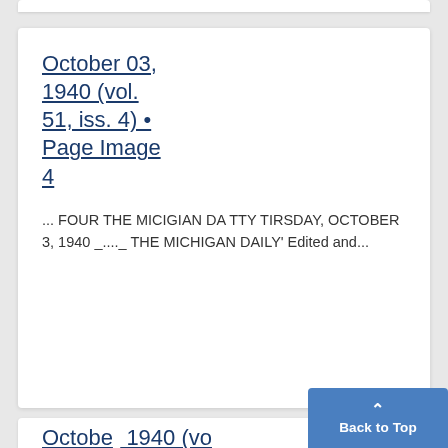October 03, 1940 (vol. 51, iss. 4) • Page Image 4
... FOUR THE MICIGIAN DA TTY TIRSDAY, OCTOBER 3, 1940 _...._ THE MICHIGAN DAILY' Edited and...
October 1940 (vo...